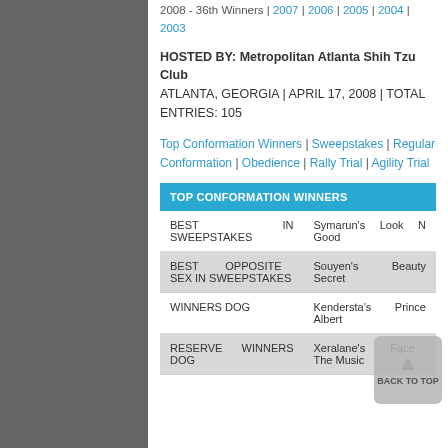2008 - 36th Winners | 2007 | 2006 | 2005 | 2004 | 2003
HOSTED BY: Metropolitan Atlanta Shih Tzu Club ATLANTA, GEORGIA | APRIL 17, 2008 | TOTAL ENTRIES: 105
Top Conformation Winners | Sweepstakes | Regular Conformation | Obedience | Rally Trial | Agility Trial
| TOP CONFORMATION WINNERS |  |
| --- | --- |
| BEST IN SWEEPSTAKES | Symarun's Look N Good |
| BEST OPPOSITE SEX IN SWEEPSTAKES | Souyen's Beauty Secret |
| WINNERS DOG | Kendersta's Prince Albert |
| RESERVE WINNERS DOG | Xeralane's Face The Music |